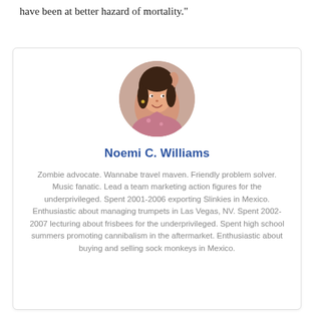have been at better hazard of mortality."
[Figure (photo): Circular portrait photo of Noemi C. Williams, a woman with dark hair posing with one hand raised near her head, wearing a floral top.]
Noemi C. Williams
Zombie advocate. Wannabe travel maven. Friendly problem solver. Music fanatic. Lead a team marketing action figures for the underprivileged. Spent 2001-2006 exporting Slinkies in Mexico. Enthusiastic about managing trumpets in Las Vegas, NV. Spent 2002-2007 lecturing about frisbees for the underprivileged. Spent high school summers promoting cannibalism in the aftermarket. Enthusiastic about buying and selling sock monkeys in Mexico.